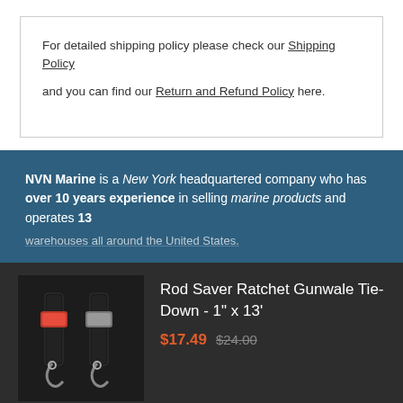For detailed shipping policy please check our Shipping Policy and you can find our Return and Refund Policy here.
NVN Marine is a New York headquartered company who has over 10 years experience in selling marine products and operates 13 warehouses all around the United States.
[Figure (photo): Product photo of Rod Saver Ratchet Gunwale Tie-Down straps with hooks, black straps on dark background]
Rod Saver Ratchet Gunwale Tie-Down - 1" x 13'
$17.49 $24.00
SOLD OUT